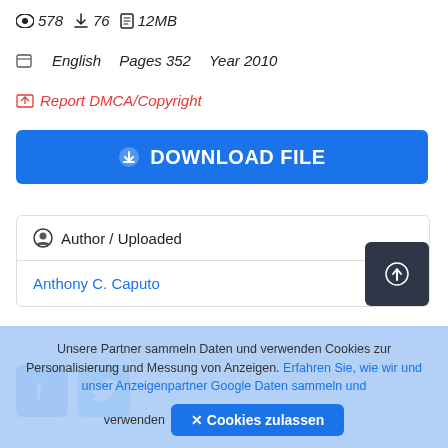👁 578  ⬇ 76  📄 12MB
English   Pages 352   Year 2010
🚩 Report DMCA/Copyright
⬇ DOWNLOAD FILE
Author / Uploaded
Anthony C. Caputo
[Figure (illustration): Facebook and Twitter social share buttons]
Unsere Partner sammeln Daten und verwenden Cookies zur Personalisierung und Messung von Anzeigen. Erfahren Sie, wie wir und unser Anzeigenpartner Google Daten sammeln und verwenden
✕ Cookies zulassen